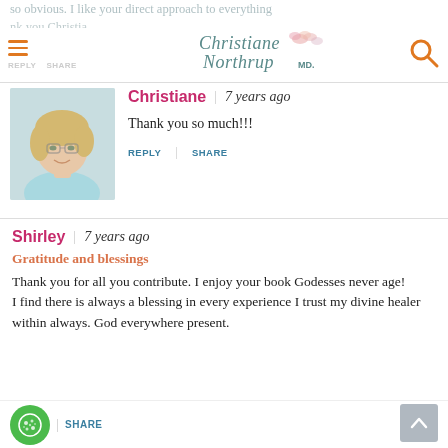so obvious. I like your direct approach to everything
Thank you Christia...
Christiane Northrup MD - logo header with search icon and hamburger menu
Christiane | 7 years ago
Thank you so much!!!
REPLY   SHARE
Shirley | 7 years ago
Gratitude and blessings
Thank you for all you contribute. I enjoy your book Godesses never age!
I find there is always a blessing in every experience I trust my divine healer within always. God everywhere present.
SHARE